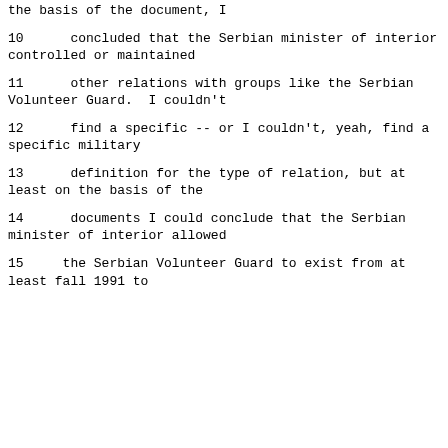the basis of the document, I
10      concluded that the Serbian minister of interior controlled or maintained
11      other relations with groups like the Serbian Volunteer Guard.  I couldn't
12      find a specific -- or I couldn't, yeah, find a specific military
13      definition for the type of relation, but at least on the basis of the
14      documents I could conclude that the Serbian minister of interior allowed
15      the Serbian Volunteer Guard to exist from at least fall 1991 to